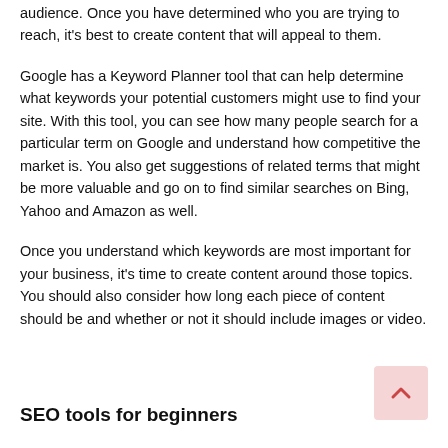audience. Once you have determined who you are trying to reach, it's best to create content that will appeal to them.
Google has a Keyword Planner tool that can help determine what keywords your potential customers might use to find your site. With this tool, you can see how many people search for a particular term on Google and understand how competitive the market is. You also get suggestions of related terms that might be more valuable and go on to find similar searches on Bing, Yahoo and Amazon as well.
Once you understand which keywords are most important for your business, it's time to create content around those topics. You should also consider how long each piece of content should be and whether or not it should include images or video.
SEO tools for beginners